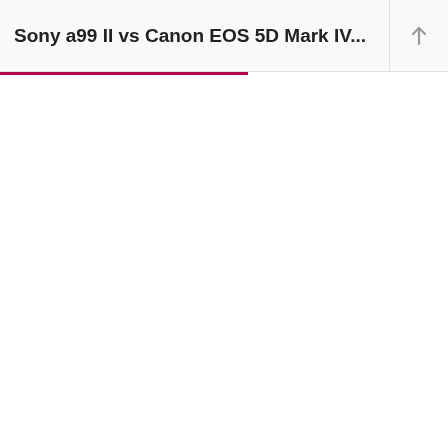Sony a99 II vs Canon EOS 5D Mark IV...